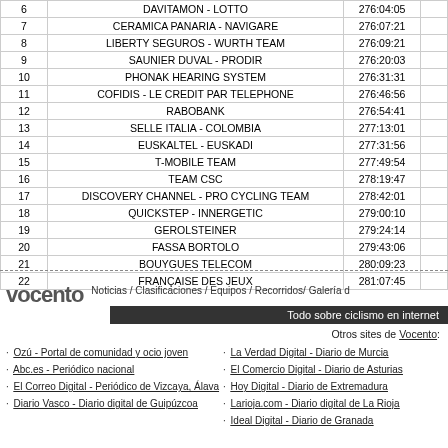|  | Team | Time |  |
| --- | --- | --- | --- |
| 6 | DAVITAMON - LOTTO | 276:04:05 |  |
| 7 | CERAMICA PANARIA - NAVIGARE | 276:07:21 |  |
| 8 | LIBERTY SEGUROS - WURTH TEAM | 276:09:21 |  |
| 9 | SAUNIER DUVAL - PRODIR | 276:20:03 |  |
| 10 | PHONAK HEARING SYSTEM | 276:31:31 |  |
| 11 | COFIDIS - LE CREDIT PAR TELEPHONE | 276:46:56 |  |
| 12 | RABOBANK | 276:54:41 |  |
| 13 | SELLE ITALIA - COLOMBIA | 277:13:01 |  |
| 14 | EUSKALTEL - EUSKADI | 277:31:56 |  |
| 15 | T-MOBILE TEAM | 277:49:54 |  |
| 16 | TEAM CSC | 278:19:47 |  |
| 17 | DISCOVERY CHANNEL - PRO CYCLING TEAM | 278:42:01 |  |
| 18 | QUICKSTEP - INNERGETIC | 279:00:10 |  |
| 19 | GEROLSTEINER | 279:24:14 |  |
| 20 | FASSA BORTOLO | 279:43:06 |  |
| 21 | BOUYGUES TELECOM | 280:09:23 |  |
| 22 | FRANÇAISE DES JEUX | 281:07:45 |  |
[Figure (logo): Vocento logo with navigation links and dark bar reading 'Todo sobre ciclismo en internet']
Otros sites de Vocento:
Ozú - Portal de comunidad y ocio joven
Abc.es - Periódico nacional
El Correo Digital - Periódico de Vizcaya, Álava
Diario Vasco - Diario digital de Guipúzcoa
La Verdad Digital - Diario de Murcia
El Comercio Digital - Diario de Asturias
Hoy Digital - Diario de Extremadura
Larioja.com - Diario digital de La Rioja
Ideal Digital - Diario de Granada